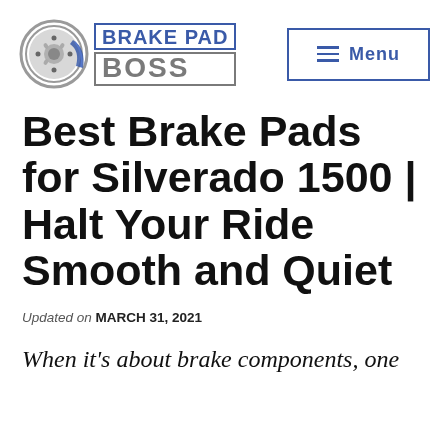Brake Pad Boss — Menu
Best Brake Pads for Silverado 1500 | Halt Your Ride Smooth and Quiet
Updated on MARCH 31, 2021
When it's about brake components, one